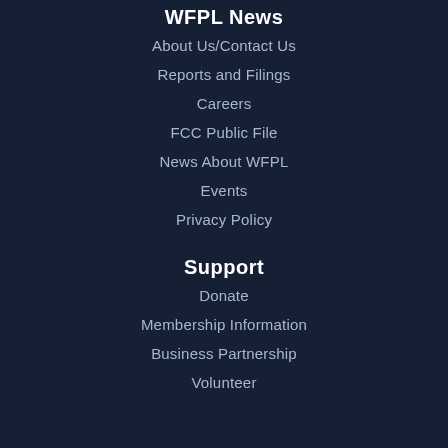WFPL News
About Us/Contact Us
Reports and Filings
Careers
FCC Public File
News About WFPL
Events
Privacy Policy
Support
Donate
Membership Information
Business Partnership
Volunteer